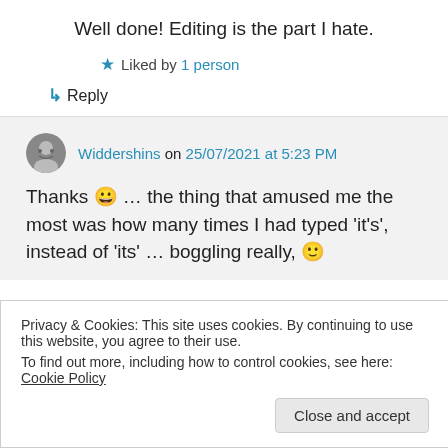Well done! Editing is the part I hate.
★ Liked by 1 person
↳ Reply
Widdershins on 25/07/2021 at 5:23 PM
Thanks 😀 … the thing that amused me the most was how many times I had typed 'it's', instead of 'its' … boggling really, 🙂
Privacy & Cookies: This site uses cookies. By continuing to use this website, you agree to their use.
To find out more, including how to control cookies, see here: Cookie Policy
Close and accept